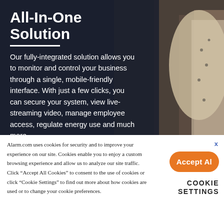All-In-One Solution
Our fully-integrated solution allows you to monitor and control your business through a single, mobile-friendly interface. With just a few clicks, you can secure your system, view live-streaming video, manage employee access, regulate energy use and much more.
[Figure (photo): Background photo of a man in a dotted white shirt in a retail store environment with dark shelving]
Alarm.com uses cookies for security and to improve your experience on our site. Cookies enable you to enjoy a custom browsing experience and allow us to analyze our site traffic. Click “Accept All Cookies” to consent to the use of cookies or click “Cookie Settings” to find out more about how cookies are used or to change your cookie preferences.
Accept All
COOKIE SETTINGS